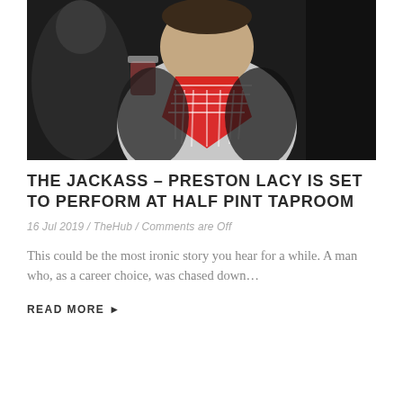[Figure (photo): A heavyset man wearing a white shirt with a red and white checkered scarf/keffiyeh, holding a drink, photographed at what appears to be a nighttime event. Dark background with another person visible to the left.]
THE JACKASS – PRESTON LACY IS SET TO PERFORM AT HALF PINT TAPROOM
16 Jul 2019 / TheHub / Comments are Off
This could be the most ironic story you hear for a while. A man who, as a career choice, was chased down...
READ MORE ▶